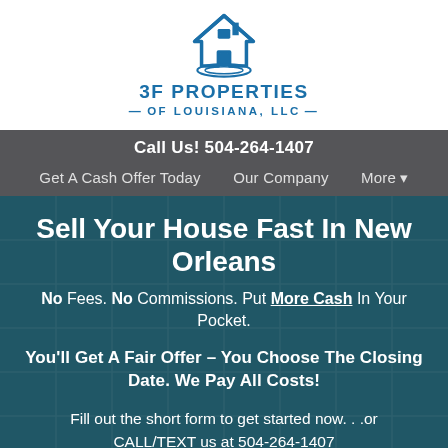[Figure (logo): 3F Properties of Louisiana LLC logo — blue house icon with swoosh beneath it, followed by bold blue text '3F PROPERTIES' and '— OF LOUISIANA, LLC —']
Call Us! 504-264-1407
Get A Cash Offer Today   Our Company   More ▾
Sell Your House Fast In New Orleans
No Fees. No Commissions. Put More Cash In Your Pocket.
You'll Get A Fair Offer – You Choose The Closing Date. We Pay All Costs!
Fill out the short form to get started now. . .or CALL/TEXT us at 504-264-1407